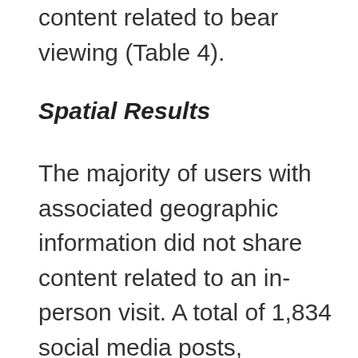content related to bear viewing (Table 4).
Spatial Results
The majority of users with associated geographic information did not share content related to an in-person visit. A total of 1,834 social media posts, representing 158 unique users, contained associated geographic information. Only 31 of these users were in-person visitors, including 27 Twitter users and 4 Flickr users. This